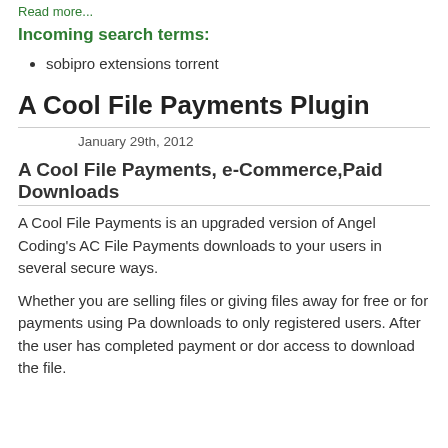Read more...
Incoming search terms:
sobipro extensions torrent
A Cool File Payments Plugin
January 29th, 2012
A Cool File Payments, e-Commerce,Paid Downloads
A Cool File Payments is an upgraded version of Angel Coding's AC File Payments downloads to your users in several secure ways.
Whether you are selling files or giving files away for free or for payments using Pa downloads to only registered users. After the user has completed payment or dor access to download the file.